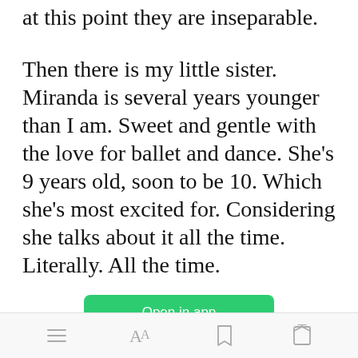at this point they are inseparable.
Then there is my little sister. Miranda is several years younger than I am. Sweet and gentle with the love for ballet and dance. She’s 9 years old, soon to be 10. Which she’s most excited for. Considering she talks about it all the time. Literally. All the time.
Open in app
The...